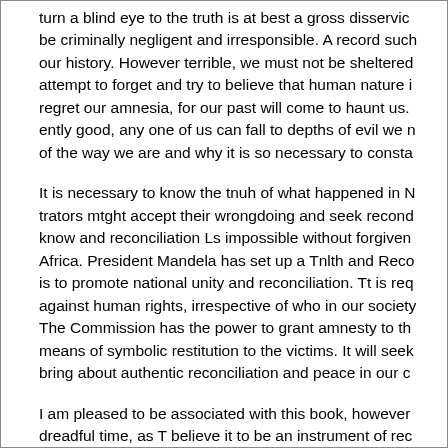turn a blind eye to the truth is at best a gross disservice be criminally negligent and irresponsible. A record such our history. However terrible, we must not be sheltered attempt to forget and try to believe that human nature i regret our amnesia, for our past will come to haunt us. ently good, any one of us can fall to depths of evil we n of the way we are and why it is so necessary to consta
It is necessary to know the tnuh of what happened in N trators mtght accept their wrongdoing and seek recone know and reconciliation Ls impossible without forgiven Africa. President Mandela has set up a Tnlth and Reco is to promote national unity and reconciliation. Tt is req against human rights, irrespective of who in our society The Commission has the power to grant amnesty to th means of symbolic restitution to the victims. It will seek bring about authentic reconciliation and peace in our c
I am pleased to be associated with this book, however dreadful time, as T believe it to be an instrument of rec to a better world.